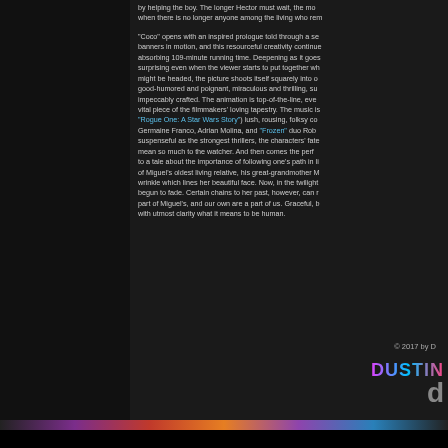by helping the boy. The longer Hector must wait, the more when there is no longer anyone among the living who rem
"Coco" opens with an inspired prologue told through a se banners in motion, and this resourceful creativity continue absorbing 109-minute running time. Deepening as it goes, surprising even when the viewer starts to put together wh might be headed, the picture shoots itself squarely into o good-humored and poignant, miraculous and thrilling, su impeccably crafted. The animation is top-of-the-line, eve vital piece of the filmmakers' loving tapestry. The music is "Rogue One: A Star Wars Story") lush, rousing, folksy co Germaine Franco, Adrian Molina, and "Frozen" duo Rob suspenseful as the strongest thrillers, the characters' fate mean so much to the watcher. And then comes the perf to a tale about the importance of following one's path in li of Miguel's oldest living relative, his great-grandmother M wrinkle which lines her beautiful face. Now, in the twilight begun to fade. Certain chains to her past, however, can r part of Miguel's, and our own are a part of us. Graceful, b with utmost clarity what it means to be human.
© 2017 by D
[Figure (logo): DUSTIN text logo with colorful gradient and large circular letter mark]